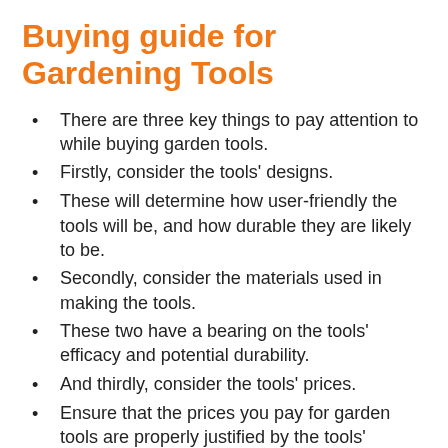Buying guide for Gardening Tools
There are three key things to pay attention to while buying garden tools.
Firstly, consider the tools’ designs.
These will determine how user-friendly the tools will be, and how durable they are likely to be.
Secondly, consider the materials used in making the tools.
These two have a bearing on the tools’ efficacy and potential durability.
And thirdly, consider the tools’ prices.
Ensure that the prices you pay for garden tools are properly justified by the tools’ features.